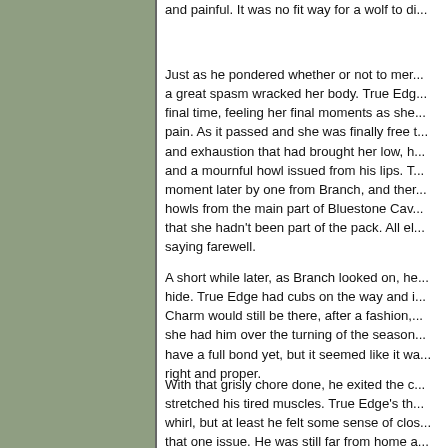and painful. It was no fit way for a wolf to di...
Just as he pondered whether or not to mer... a great spasm wracked her body. True Edg... final time, feeling her final moments as she... pain. As it passed and she was finally free t... and exhaustion that had brought her low, h... and a mournful howl issued from his lips. T... moment later by one from Branch, and ther... howls from the main part of Bluestone Cav... that she hadn't been part of the pack. All el... saying farewell.
A short while later, as Branch looked on, he... hide. True Edge had cubs on the way and i... Charm would still be there, after a fashion,... she had him over the turning of the season... have a full bond yet, but it seemed like it wa... right and proper.
With that grisly chore done, he exited the c... stretched his tired muscles. True Edge's th... whirl, but at least he felt some sense of clos... that one issue. He was still far from home a... sides. There were still humans far too near... were in great danger. All this had him even... might normally be and that was saying som... go far, though, a gentle sending touched hi...